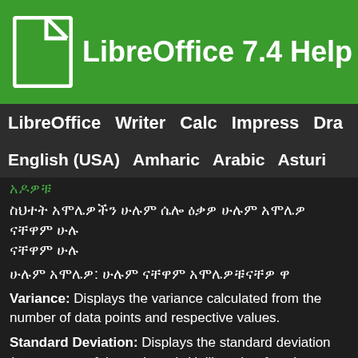LibreOffice 7.4 Help
LibreOffice  Writer  Calc  Impress  Draw
English (USA)  Amharic  Arabic  Asturi…
አዶዎቹ
ስህተት አሞሌዎችን ሁሉም ሴሎ ዕቃዎ ሁሉም አሞሌዎ ናቸዋም ሁሉ
ሁሉም አሞሌዎ: ሁሉም ናቸዋም አሞሌዎቹናቸዎ ዋ
Variance: Displays the variance calculated from the number of data points and respective values.
Standard Deviation: Displays the standard deviation (square root of the variance). Unlike other functions, error bars are centered on the mean.
Error Margin: Displays the highest error